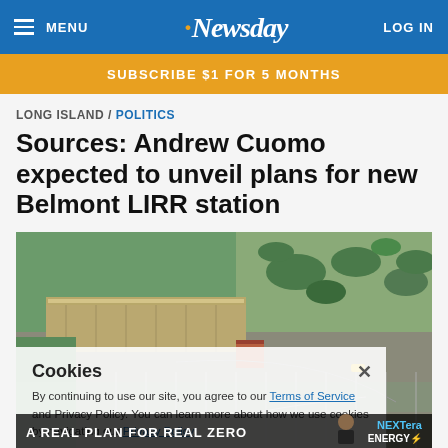MENU  Newsday  LOG IN
SUBSCRIBE $1 FOR 5 MONTHS
LONG ISLAND / POLITICS
Sources: Andrew Cuomo expected to unveil plans for new Belmont LIRR station
[Figure (photo): Aerial photograph of Belmont Park racetrack and surrounding area, showing grandstand building, parking lots, and suburban neighborhood with trees]
Cookies
By continuing to use our site, you agree to our Terms of Service and Privacy Policy. You can learn more about how we use cookies by navigating our Privacy Policy.
A REAL PLAN FOR REAL ZERO  NextEra ENERGY